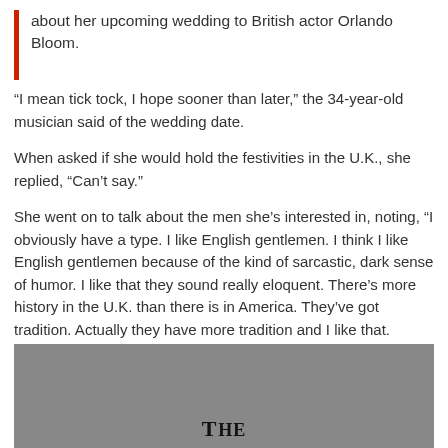about her upcoming wedding to British actor Orlando Bloom.
“I mean tick tock, I hope sooner than later,” the 34-year-old musician said of the wedding date.
When asked if she would hold the festivities in the U.K., she replied, “Can’t say.”
She went on to talk about the men she’s interested in, noting, “I obviously have a type. I like English gentlemen. I think I like English gentlemen because of the kind of sarcastic, dark sense of humor. I like that they sound really eloquent. There’s more history in the U.K. than there is in America. They’ve got tradition. Actually they have more tradition and I like that. There’s tea time.”
Read more...
[Figure (other): Gray image section with bold serif text reading 'THE' partially visible at bottom]